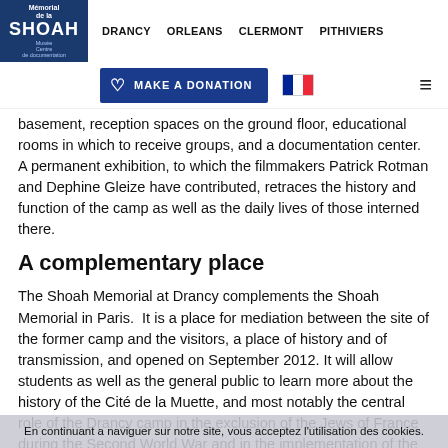Mémorial de la SHOAH | DRANCY | ORLEANS | CLERMONT | PITHIVIERS
MAKE A DONATION
basement, reception spaces on the ground floor, educational rooms in which to receive groups, and a documentation center. A permanent exhibition, to which the filmmakers Patrick Rotman and Dephine Gleize have contributed, retraces the history and function of the camp as well as the daily lives of those interned there.
A complementary place
The Shoah Memorial at Drancy complements the Shoah Memorial in Paris. It is a place for mediation between the site of the former camp and the visitors, a place of history and of transmission, and opened on September 2012. It will allow students as well as the general public to learn more about the history of the Cité de la Muette, and most notably the central role of the Drancy camp in the exclusion of the Jews of France during the Second World War and in the implementation of the final
En continuant a naviguer sur notre site, vous acceptez l'utilisation des cookies.